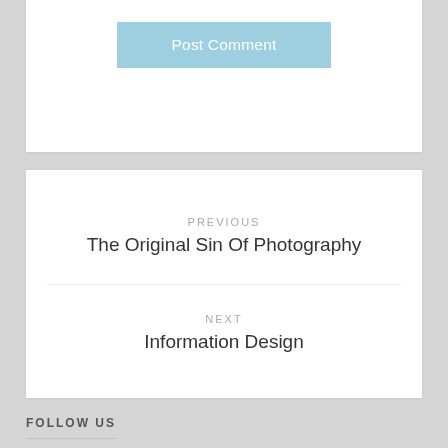[Figure (screenshot): Post Comment button rendered as a light blue rectangular button with white text]
PREVIOUS
The Original Sin Of Photography
NEXT
Information Design
FOLLOW US